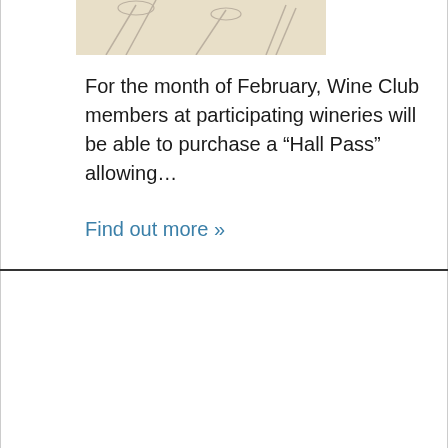[Figure (illustration): Decorative illustration with wine/dining motifs on tan/beige background, partially visible at top]
For the month of February, Wine Club members at participating wineries will be able to purchase a “Hall Pass” allowing…
Find out more »
MONTH OF LOVE HALL PASS!
February 2
Recurring Event (See all)
[Figure (illustration): Decorative illustration with wine/dining motifs on tan/beige background, partially visible at bottom]